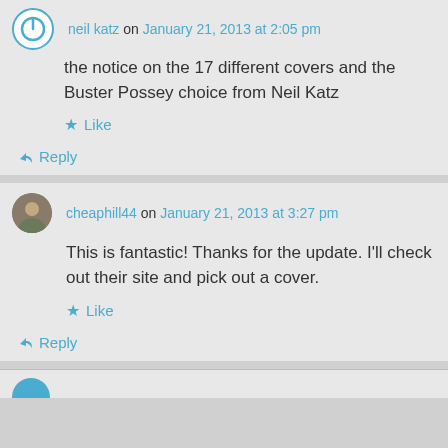neil katz on January 21, 2013 at 2:05 pm
the notice on the 17 different covers and the Buster Possey choice from Neil Katz
Like
Reply
cheaphill44 on January 21, 2013 at 3:27 pm
This is fantastic! Thanks for the update. I'll check out their site and pick out a cover.
Like
Reply